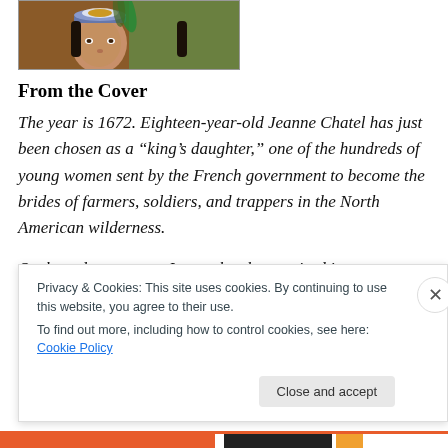[Figure (illustration): Partial view of a book cover showing a painted illustration of a person with a headdress, cropped at the top of the page]
From the Cover
The year is 1672. Eighteen-year-old Jeanne Chatel has just been chosen as a “king’s daughter,” one of the hundreds of young women sent by the French government to become the brides of farmers, soldiers, and trappers in the North American wilderness.
Orphaned at age ten, Jeanne has been raised in a convent. But with her independent spirit, she doesn’t
Privacy & Cookies: This site uses cookies. By continuing to use this website, you agree to their use.
To find out more, including how to control cookies, see here: Cookie Policy
Close and accept